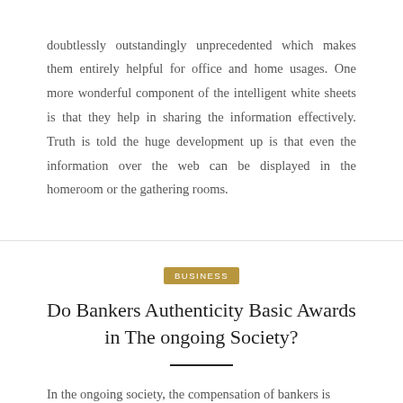doubtlessly outstandingly unprecedented which makes them entirely helpful for office and home usages. One more wonderful component of the intelligent white sheets is that they help in sharing the information effectively. Truth is told the huge development up is that even the information over the web can be displayed in the homeroom or the gathering rooms.
BUSINESS
Do Bankers Authenticity Basic Awards in The ongoing Society?
In the ongoing society, the compensation of bankers is